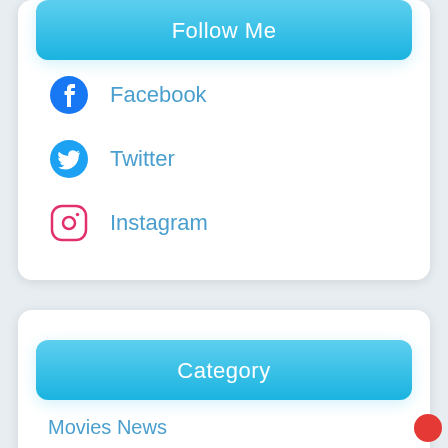Follow Me
Facebook
Twitter
Instagram
Category
Movies News
Movies Review